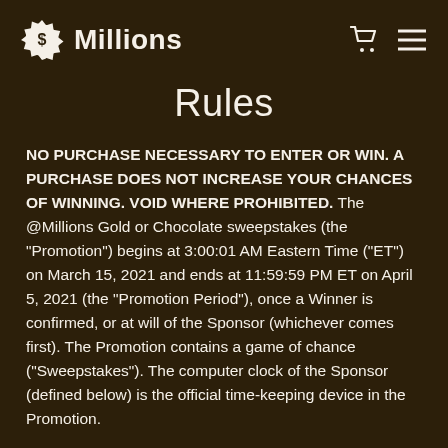$ Millions
Rules
NO PURCHASE NECESSARY TO ENTER OR WIN. A PURCHASE DOES NOT INCREASE YOUR CHANCES OF WINNING. VOID WHERE PROHIBITED. The @Millions Gold or Chocolate sweepstakes (the "Promotion") begins at 3:00:01 AM Eastern Time (“ET”) on March 15, 2021 and ends at 11:59:59 PM ET on April 5, 2021 (the “Promotion Period”), once a Winner is confirmed, or at will of the Sponsor (whichever comes first). The Promotion contains a game of chance (“Sweepstakes”). The computer clock of the Sponsor (defined below) is the official time-keeping device in the Promotion.
ELIGIBILITY: The Promotion is open only to legal residents of the 50 United States (excluding Puerto Rico) and the District of